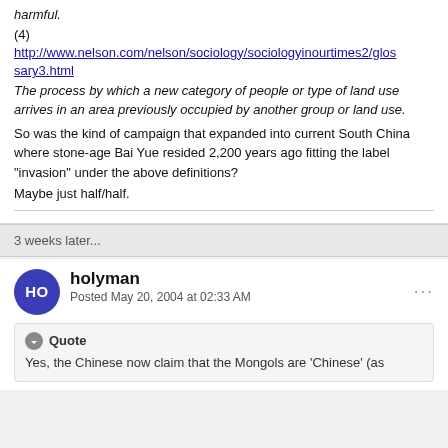harmful.
(4)
http://www.nelson.com/nelson/sociology/sociologyinourtimes2/glossary3.html
The process by which a new category of people or type of land use arrives in an area previously occupied by another group or land use.
So was the kind of campaign that expanded into current South China where stone-age Bai Yue resided 2,200 years ago fitting the label "invasion" under the above definitions?
Maybe just half/half.
3 weeks later...
holyman
Posted May 20, 2004 at 02:33 AM
Yes, the Chinese now claim that the Mongols are 'Chinese' (as